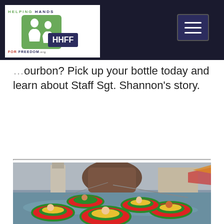HELPING HANDS FOR FREEDOM — HHFF navigation bar with logo and hamburger menu
...ourbon? Pick up your bottle today and learn about Staff Sgt. Shannon's story.
Read more
[Figure (photo): People riding colorful inflatable bumper boats (red, green, blue striped tubes) on water at what appears to be an amusement park or resort, with a large rock climbing structure and buildings visible in the background.]